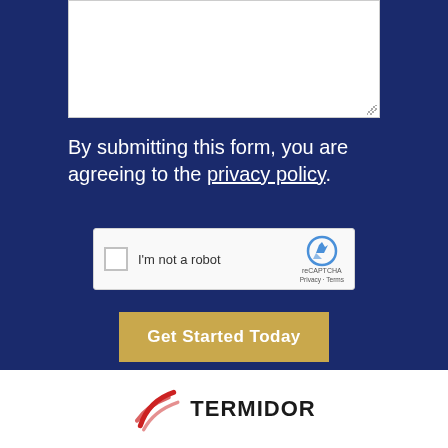[Figure (screenshot): White textarea input box for form submission]
By submitting this form, you are agreeing to the privacy policy.
[Figure (screenshot): reCAPTCHA widget with checkbox labeled 'I'm not a robot']
[Figure (other): Golden 'Get Started Today' submit button]
[Figure (logo): Termidor logo with red arc swoosh and bold TERMIDOR text]